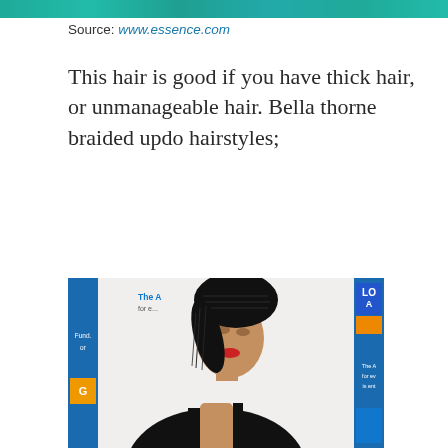[Figure (photo): Thin teal/green color strip at top of page, partial image]
Source: www.essence.com
This hair is good if you have thick hair, or unmanageable hair. Bella thorne braided updo hairstyles;
[Figure (photo): Woman with braided updo hairstyle at an event, wearing a black halter dress, in front of a white step-and-repeat banner with blue and orange logos. Hair is in micro braids pinned up into a high bun.]